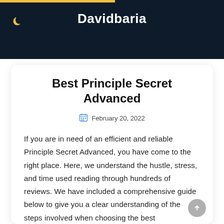Davidbaria
Best Principle Secret Advanced
February 20, 2022
If you are in need of an efficient and reliable Principle Secret Advanced, you have come to the right place. Here, we understand the hustle, stress, and time used reading through hundreds of reviews. We have included a comprehensive guide below to give you a clear understanding of the steps involved when choosing the best